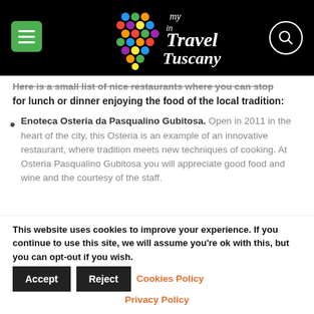My Travel in Tuscany
Here is a small list of nice restaurants where you can stop for lunch or dinner enjoying the food of the local tradition:
Enoteca Osteria da Pasqualino Gubitosa. Open in 2011 in the heart of the city, this Osteria is an example of an innovative restaurant, where tradition meets new techniques of cooking. At Osteria Pasqualino Gubitosa you will appreciate good food and wine and the courtesy of the staff.
This website uses cookies to improve your experience. If you continue to use this site, we will assume you're ok with this, but you can opt-out if you wish.
Accept   Reject   Cookies Policy
Privacy Policy